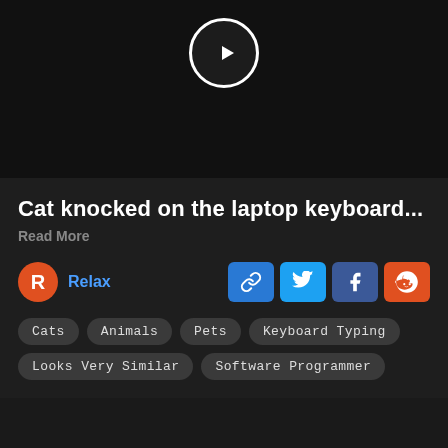[Figure (screenshot): Dark video thumbnail area with a circular play button (white triangle inside white-bordered circle) at top center]
Cat knocked on the laptop keyboard...
Read More
R Relax
[Figure (infographic): Four social share buttons: link (blue), Twitter (light blue), Facebook (dark blue), Reddit (orange-red)]
Cats
Animals
Pets
Keyboard Typing
Looks Very Similar
Software Programmer